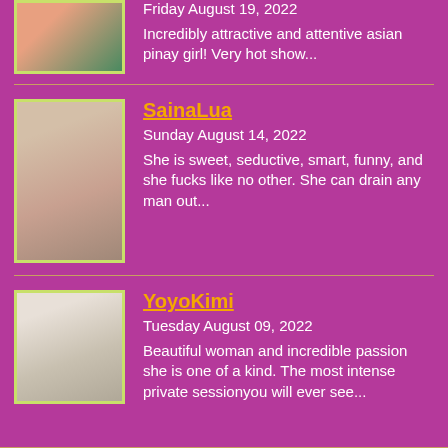[Figure (photo): Thumbnail image at top cropped, small profile photo]
Friday August 19, 2022
Incredibly attractive and attentive asian pinay girl! Very hot show...
[Figure (photo): Profile photo of SainaLua - blonde woman in light outfit]
SainaLua
Sunday August 14, 2022
She is sweet, seductive, smart, funny, and she fucks like no other. She can drain any man out...
[Figure (photo): Profile photo of YoyoKimi]
YoyoKimi
Tuesday August 09, 2022
Beautiful woman and incredible passion she is one of a kind. The most intense private sessionyou will ever see...